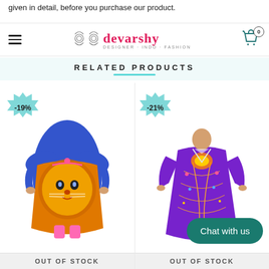given in detail, before you purchase our product.
[Figure (logo): Devarshy brand logo with decorative symbol and stylized text]
RELATED PRODUCTS
[Figure (photo): Colorful lion print kaftan dress, -19% discount badge, OUT OF STOCK]
[Figure (photo): Purple embellished kaftan dress, -21% discount badge, OUT OF STOCK]